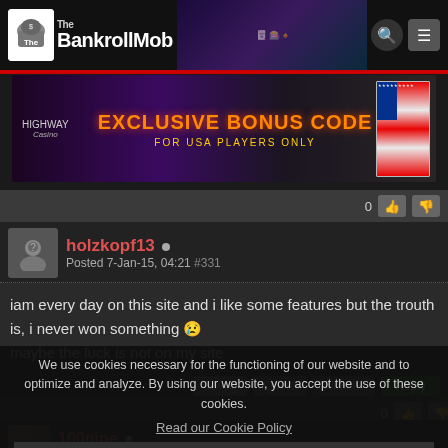The BankrollMob
[Figure (infographic): Highway Casino banner ad: EXCLUSIVE BONUS CODE FOR USA PLAYERS ONLY with US flag]
holzkopf13 • Posted 7-Jan-15, 04:21 #331
iam every day on this site and i like some features but the trouth is, i never won something 😢
maybe the luck is not on my site
We use cookies necessary for the functioning of our website and to optimize and analyze. By using our website, you accept the use of these cookies.
Read our Cookie Policy
Understood
100nipe • Posted 19-Mar-15, 04:09
YES VERY LOOK